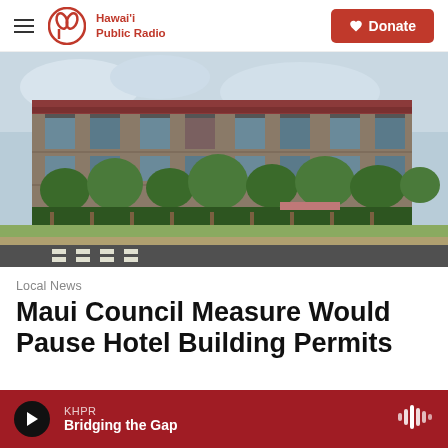Hawai'i Public Radio — Donate
[Figure (photo): Exterior photo of a multi-story hotel or condominium building with balconies, surrounded by tropical trees and hedges, with a road and crosswalk in the foreground.]
Local News
Maui Council Measure Would Pause Hotel Building Permits
KHPR — Bridging the Gap